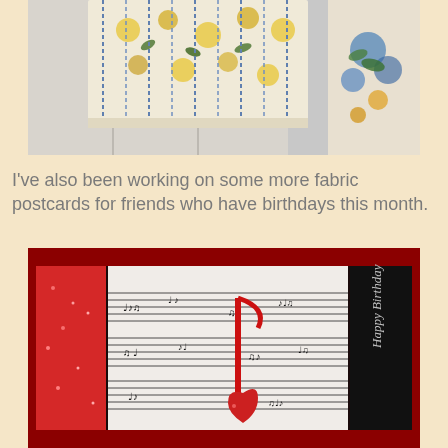[Figure (photo): Photo of floral fabric hanging from a rod with sparkly chain-like trim, and a floral vase or fabric on the right side. White door or wall in background.]
I've also been working on some more fabric postcards for friends who have birthdays this month.
[Figure (photo): Photo of handmade fabric postcards with a music sheet print, red sparkly fabric, a red musical note embellishment, a red heart button, and a black panel on the right with 'Happy Birthday' written in script.]